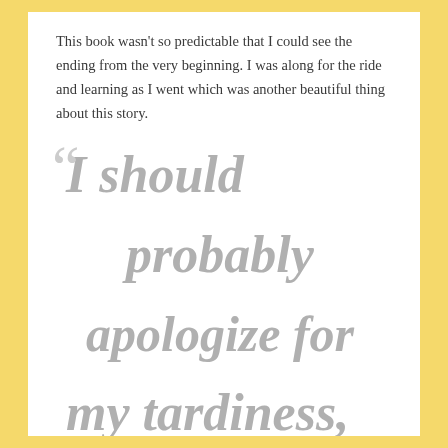This book wasn't so predictable that I could see the ending from the very beginning. I was along for the ride and learning as I went which was another beautiful thing about this story.
“I should probably apologize for my tardiness,